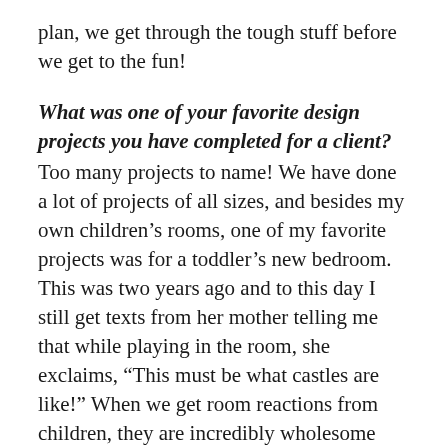plan, we get through the tough stuff before we get to the fun!
What was one of your favorite design projects you have completed for a client?
Too many projects to name! We have done a lot of projects of all sizes, and besides my own children’s rooms, one of my favorite projects was for a toddler’s new bedroom. This was two years ago and to this day I still get texts from her mother telling me that while playing in the room, she exclaims, “This must be what castles are like!” When we get room reactions from children, they are incredibly wholesome